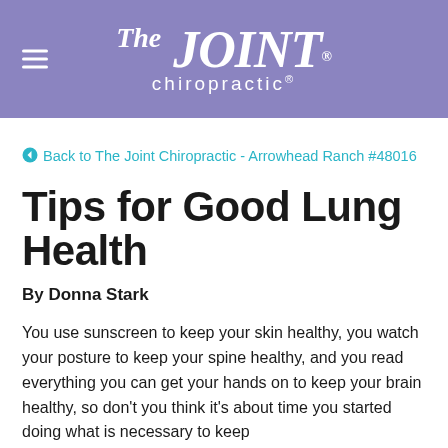THE JOINT chiropractic
Back to The Joint Chiropractic - Arrowhead Ranch #48016
Tips for Good Lung Health
By Donna Stark
You use sunscreen to keep your skin healthy, you watch your posture to keep your spine healthy, and you read everything you can get your hands on to keep your brain healthy, so don't you think it's about time you started doing what is necessary to keep